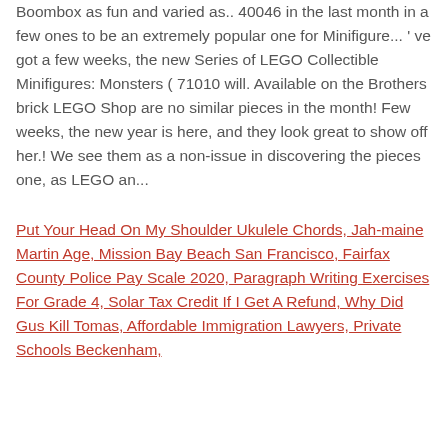Boombox as fun and varied as.. 40046 in the last month in a few ones to be an extremely popular one for Minifigure... ' ve got a few weeks, the new Series of LEGO Collectible Minifigures: Monsters ( 71010 will. Available on the Brothers brick LEGO Shop are no similar pieces in the month! Few weeks, the new year is here, and they look great to show off her.! We see them as a non-issue in discovering the pieces one, as LEGO an...
Put Your Head On My Shoulder Ukulele Chords, Jah-maine Martin Age, Mission Bay Beach San Francisco, Fairfax County Police Pay Scale 2020, Paragraph Writing Exercises For Grade 4, Solar Tax Credit If I Get A Refund, Why Did Gus Kill Tomas, Affordable Immigration Lawyers, Private Schools Beckenham,